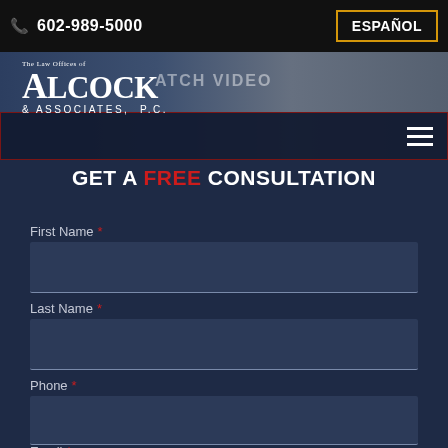602-989-5000  ESPAÑOL
[Figure (screenshot): Law office hero image with navigation bar showing Alcock & Associates P.C. logo and hamburger menu. Background shows blurred office scene with WATCH VIDEO text.]
GET A FREE CONSULTATION
First Name *
Last Name *
Phone *
Email *